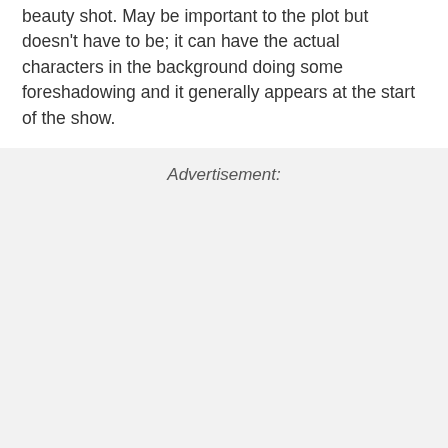beauty shot. May be important to the plot but doesn't have to be; it can have the actual characters in the background doing some foreshadowing and it generally appears at the start of the show.
Advertisement: